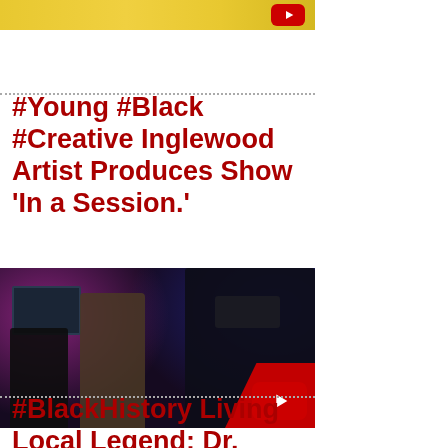[Figure (photo): Partial view of a video thumbnail at the top with a YouTube play button overlay]
#Young #Black #Creative Inglewood Artist Produces Show ‘In a Session.’
[Figure (photo): Video thumbnail showing a music studio scene with people and a cameraman, with a YouTube play button overlay in the bottom right]
#BlackHistory Living Local Legend: Dr. Saul